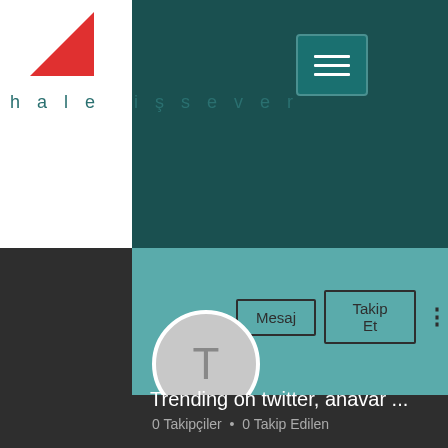[Figure (screenshot): Mobile web page screenshot showing a Turkish language social media profile page. Header features dark teal background with a white sidebar containing a red triangle logo and site name 'hale işsever' with cursive text below. A hamburger menu icon appears top right. Below the header is a teal profile banner with Mesaj and Takip Et buttons, a circular avatar with letter T, user name 'Trending on twitter, anavar ...' and follower stats '0 Takipçiler • 0 Takip Edilen'. A Profil section header appears at bottom.]